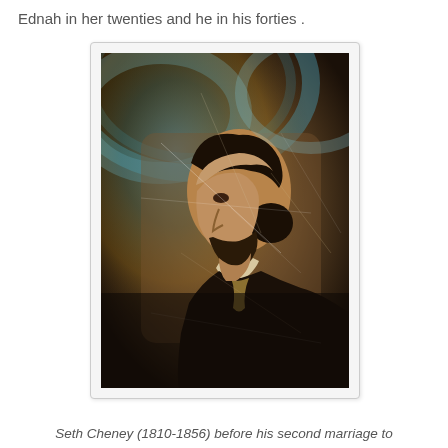Ednah in her twenties and he in his forties .
[Figure (photo): An aged daguerreotype portrait photograph of a man in profile view facing left, with dark hair swept back, a beard, wearing a dark coat and cravat. The image shows significant scratches and aging typical of mid-19th century daguerreotypes. The background has colorful iridescent tones from oxidation.]
Seth Cheney (1810-1856) before his second marriage to